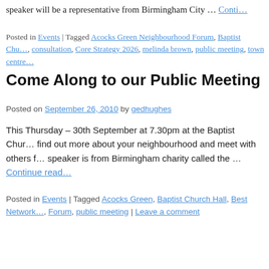speaker will be a representative from Birmingham City … Continue
Posted in Events | Tagged Acocks Green Neighbourhood Forum, Baptist Chu…, consultation, Core Strategy 2026, melinda brown, public meeting, town centre…
Come Along to our Public Meeting
Posted on September 26, 2010 by gedhughes
This Thursday – 30th September at 7.30pm at the Baptist Chur… find out more about your neighbourhood and meet with others f… speaker is from Birmingham charity called the … Continue read…
Posted in Events | Tagged Acocks Green, Baptist Church Hall, Best Network…, Forum, public meeting | Leave a comment